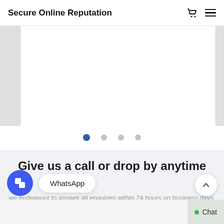Secure Online Reputation
[Figure (screenshot): Partial view of a website slider/carousel with a white content panel, left and right edge strips visible]
[Figure (other): Carousel navigation dots: 4 dots, first one active (dark blue), remaining three light grey]
Give us a call or drop by anytime
we endeavour to answer all enquiries within 24 hours on business days.
[Figure (other): WhatsApp chat button with blue circular icon and WhatsApp label pill]
[Figure (other): Scroll to top button (chevron up) and Chat button with green dot]